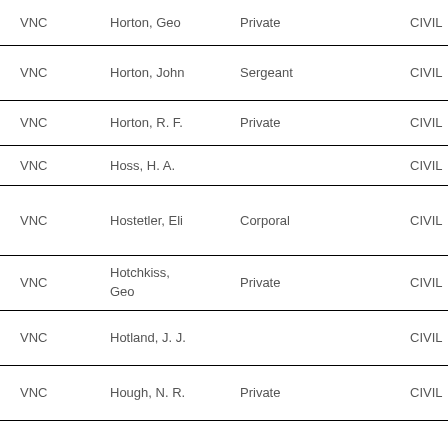| Code | Name | Rank |  | Category |
| --- | --- | --- | --- | --- |
| VNC | Horton, Geo | Private |  | CIVIL |
| VNC | Horton, John | Sergeant |  | CIVIL |
| VNC | Horton, R. F. | Private |  | CIVIL |
| VNC | Hoss, H. A. |  |  | CIVIL |
| VNC | Hostetler, Eli | Corporal |  | CIVIL |
| VNC | Hotchkiss, Geo | Private |  | CIVIL |
| VNC | Hotland, J. J. |  |  | CIVIL |
| VNC | Hough, N. R. | Private |  | CIVIL |